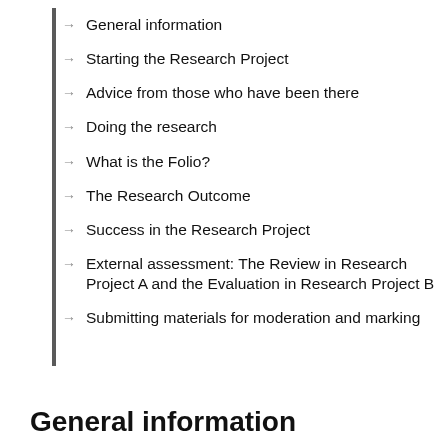General information
Starting the Research Project
Advice from those who have been there
Doing the research
What is the Folio?
The Research Outcome
Success in the Research Project
External assessment: The Review in Research Project A and the Evaluation in Research Project B
Submitting materials for moderation and marking
General information